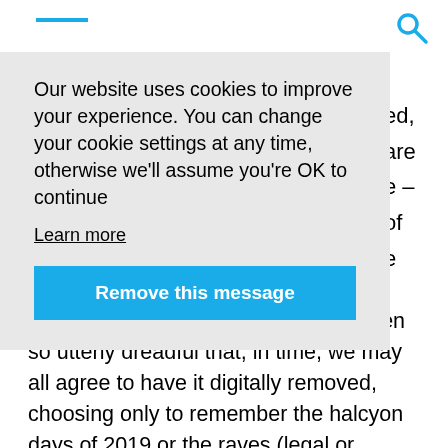Our website uses cookies to improve your experience. You can change your cookie settings at any time, otherwise we'll assume you're OK to continue
Learn more
Remove this message
Let's be honest, though, 2020 has been so utterly dreadful that, in time, we may all agree to have it digitally removed, choosing only to remember the halcyon days of 2019 or the raves (legal or otherwise) of 2021. But while 2020 is still here, we may also reflect on a seminal year when digital helped paved the